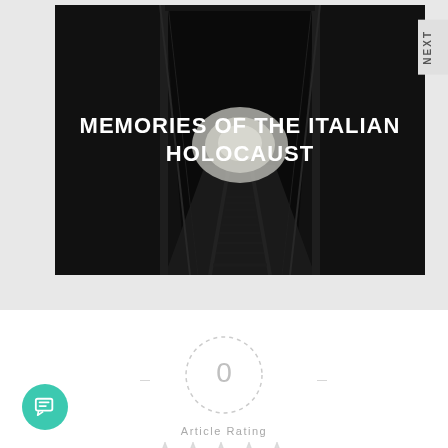[Figure (photo): Dark tunnel/industrial corridor with railway tracks leading to a bright opening in the distance. Text overlay reads MEMORIES OF THE ITALIAN HOLOCAUST in white bold uppercase letters.]
NEXT
[Figure (infographic): Circular dashed border containing the number 0, representing article rating score. Dashes extend to the left and right sides. Below reads Article Rating. Below that are 5 empty/hollow star icons.]
Article Rating
[Figure (illustration): Teal/green circular chat bubble icon button in the bottom left corner.]